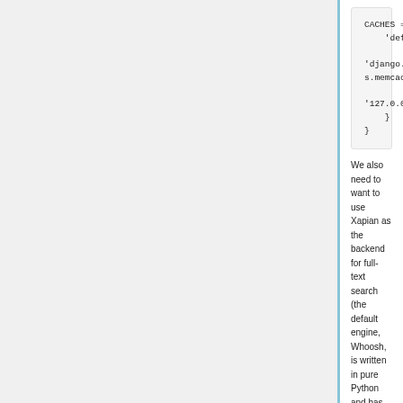[Figure (other): Code block showing CACHES Python dictionary configuration with memcached backend at 127.0.0.1:11211]
We also need to want to use Xapian as the backend for full-text search (the default engine, Whoosh, is written in pure Python and has horrible performance). Add the following section to mailman-web.py:
[Figure (other): Code block showing HAYSTACK_CONNECTIONS Python dictionary configuration with Xapian engine]